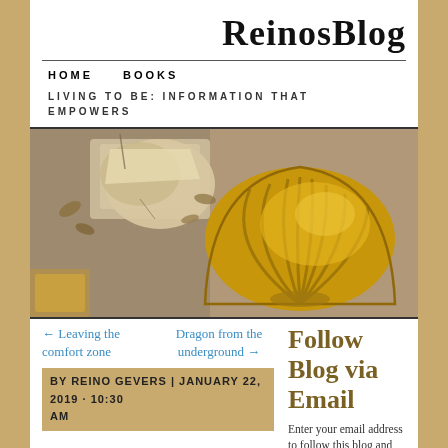ReinosBlog
HOME   BOOKS   LIVING TO BE: INFORMATION THAT EMPOWERS
[Figure (photo): A golden scallop shell emblem mounted on a stone or concrete surface with flaking paint and leaves, viewed from above.]
← Leaving the comfort zone
Dragon from the underground →
Follow Blog via Email
Enter your email address to follow this blog and receive
BY REINO GEVERS | JANUARY 22, 2019 · 10:30 AM